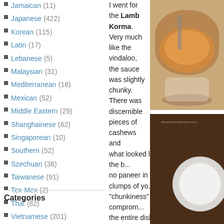Jamaican (11)
Japanese (422)
Korean (115)
Latin (17)
Lebanese (5)
Malaysian (31)
Mediterranean (18)
Mexican (52)
Middle Eastern (29)
Shanghainese (62)
Singaporean (10)
Southern (52)
Szechuan (36)
Taiwanese (91)
Tex-Mex (2)
Thai (82)
Vietnamese (201)
Westcoast (194)
Categories
I went for the Lamb Korma. Very much like the vindaloo, the sauce was slightly chunky. There was discernible pieces of cashews and what looked like paneer. However, to the b... no paneer in korma. So was it clumps of yo... "chunkiness" of the korma did not comprom... the entire dish to be well-balanced with nic... hint of spice. Personally, I would've liked it ... rectified by requesting it when ordering. Th... lunch specials is Galub Jamun aka as the sugary sweet ball of death. For me, I'm not a huge fan of this since the sweetness level...
[Figure (photo): Photo of a bowl of curry/korma dish, creamy orange sauce with a spoon]
[Figure (photo): Photo of a white bowl or plate on a dark brown surface]